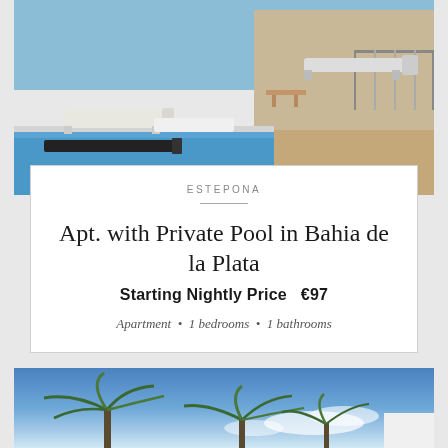[Figure (photo): Pool area with lounge chairs, blue water visible, outdoor terrace with sunbeds]
ESTEPONA
Apt. with Private Pool in Bahia de la Plata
Starting Nightly Price   €97
Apartment  •  1 bedrooms  •  1 bathrooms
[Figure (photo): Palm trees against bright blue sky with white clouds]